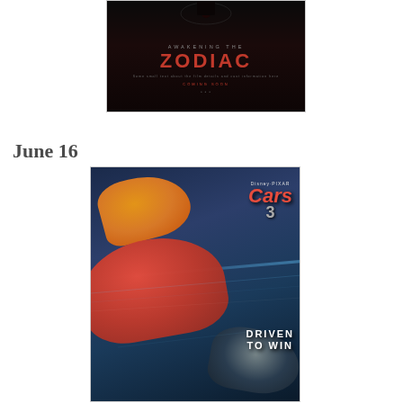[Figure (photo): Movie poster for 'Awakening the Zodiac' — dark background with red stylized text]
June 16
[Figure (photo): Movie poster for Disney Pixar 'Cars 3: Driven to Win' — animated racing cars Lightning McQueen, Cruz Ramirez, and Jackson Storm]